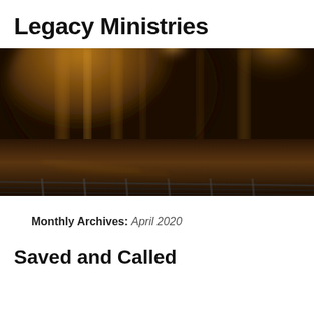Legacy Ministries
[Figure (photo): A dark, atmospheric photo with warm amber/golden tones showing blurred lights and reflections on what appears to be a wet surface or fence, with a navigation bar at the bottom containing Home, Photos and Videos, About, Contact]
Monthly Archives: April 2020
Saved and Called